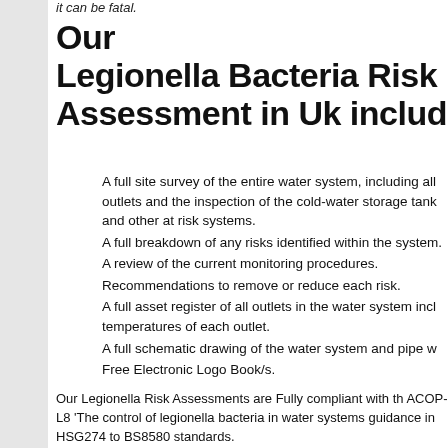it can be fatal.
Our Legionella Bacteria Risk Assessment in Uk includ
A full site survey of the entire water system, including all outlets and the inspection of the cold-water storage tank and other at risk systems.
A full breakdown of any risks identified within the system.
A review of the current monitoring procedures.
Recommendations to remove or reduce each risk.
A full asset register of all outlets in the water system incl temperatures of each outlet.
A full schematic drawing of the water system and pipe w
Free Electronic Logo Book/s.
Our Legionella Risk Assessments are Fully compliant with th ACOP-L8 'The control of legionella bacteria in water systems guidance in HSG274 to BS8580 standards.